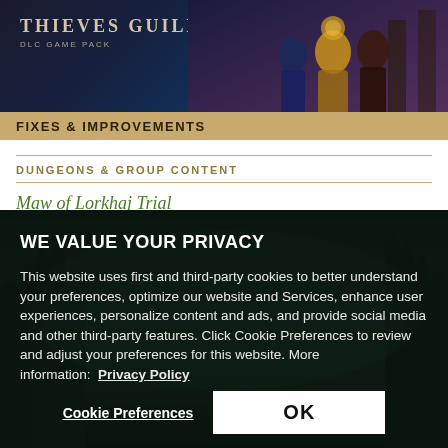[Figure (screenshot): Thieves Guild DLC Game Pack banner with fantasy characters on dark background]
FIXES & IMPROVEMENTS
DUNGEONS & GROUP CONTENT
Maw of Lorkhaj Trial
WE VALUE YOUR PRIVACY
This website uses first and third-party cookies to better understand your preferences, optimize our website and Services, enhance user experiences, personalize content and ads, and provide social media and other third-party features. Click Cookie Preferences to review and adjust your preferences for this website. More information:  Privacy Policy
Cookie Preferences
OK